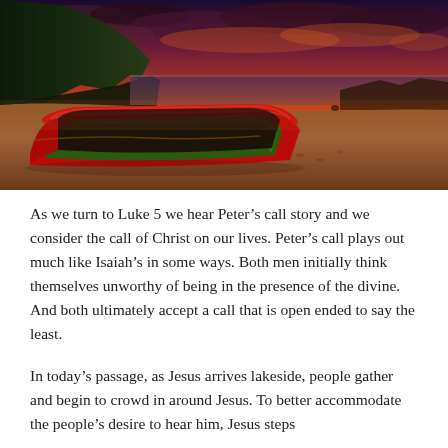[Figure (photo): A red and green wooden fishing boat resting on a sandy beach at sunset. The sky is dramatic with orange and purple clouds. Rocky cliffs are visible on the left and distant shoreline on the right.]
As we turn to Luke 5 we hear Peter's call story and we consider the call of Christ on our lives. Peter's call plays out much like Isaiah's in some ways. Both men initially think themselves unworthy of being in the presence of the divine. And both ultimately accept a call that is open ended to say the least.
In today's passage, as Jesus arrives lakeside, people gather and begin to crowd in around Jesus. To better accommodate the people's desire to hear him, Jesus steps